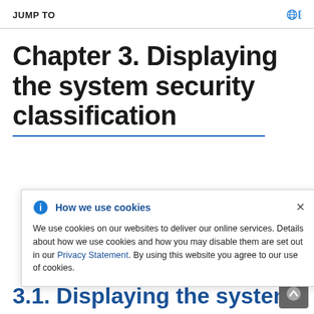JUMP TO
Chapter 3. Displaying the system security classification
We use cookies on our websites to deliver our online services. Details about how we use cookies and how you may disable them are set out in our Privacy Statement. By using this website you agree to our use of cookies.
ere the
sification
ogin
on banner.
3.1. Displaying the system